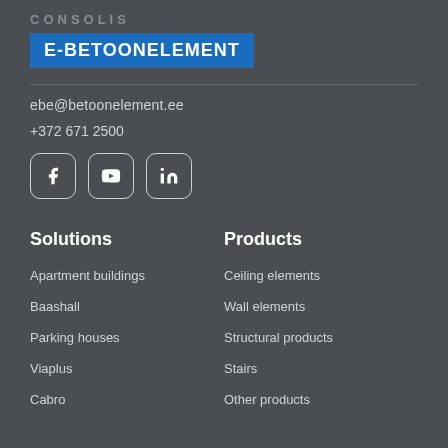CONSOLIS
E-BETOONELEMENT
ebe@betoonelement.ee
+372 671 2500
[Figure (infographic): Three social media icon buttons: Facebook, YouTube, LinkedIn, each in a rounded square outline]
Solutions
Products
Apartment buildings
Ceiling elements
Baashall
Wall elements
Parking houses
Structural products
Viaplus
Stairs
Cabro
Other products